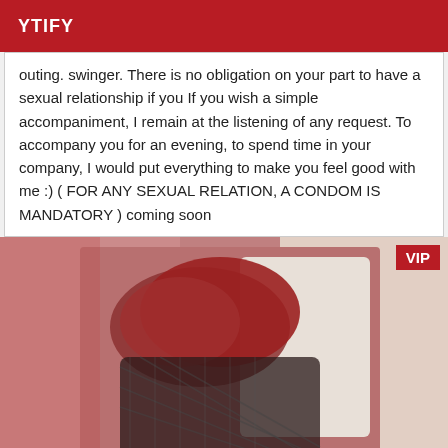YTIFY
outing. swinger. There is no obligation on your part to have a sexual relationship if you If you wish a simple accompaniment, I remain at the listening of any request. To accompany you for an evening, to spend time in your company, I would put everything to make you feel good with me :) ( FOR ANY SEXUAL RELATION, A CONDOM IS MANDATORY ) coming soon
[Figure (photo): Person with red hair lying down, wearing black fishnet clothing, reddish lighting background with white headboard visible]